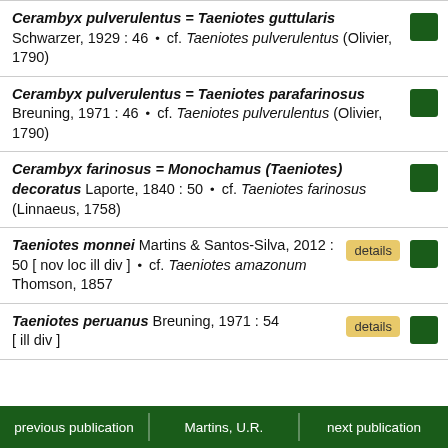Cerambyx pulverulentus = Taeniotes guttularis Schwarzer, 1929 : 46 • cf. Taeniotes pulverulentus (Olivier, 1790)
Cerambyx pulverulentus = Taeniotes parafarinosus Breuning, 1971 : 46 • cf. Taeniotes pulverulentus (Olivier, 1790)
Cerambyx farinosus = Monochamus (Taeniotes) decoratus Laporte, 1840 : 50 • cf. Taeniotes farinosus (Linnaeus, 1758)
Taeniotes monnei Martins & Santos-Silva, 2012 : 50 [ nov loc ill div ] • cf. Taeniotes amazonum Thomson, 1857
Taeniotes peruanus Breuning, 1971 : 54 [ ill div ]
previous publication | Martins, U.R. | next publication